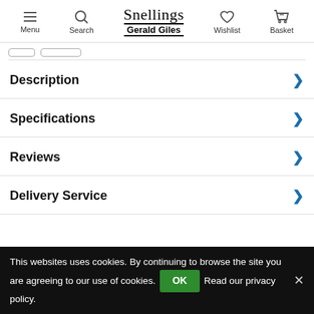Menu | Search | Snellings Gerald Giles | Wishlist | Basket
Description
Specifications
Reviews
Delivery Service
This websites uses cookies. By continuing to browse the site you are agreeing to our use of cookies. OK Read our privacy policy.